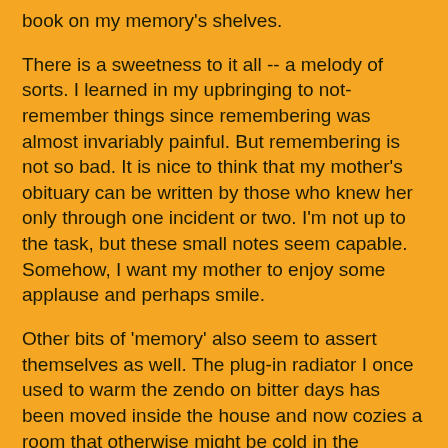book on my memory's shelves.
There is a sweetness to it all -- a melody of sorts. I learned in my upbringing to not-remember things since remembering was almost invariably painful. But remembering is not so bad. It is nice to think that my mother's obituary can be written by those who knew her only through one incident or two. I'm not up to the task, but these small notes seem capable. Somehow, I want my mother to enjoy some applause and perhaps smile.
Other bits of 'memory' also seem to assert themselves as well. The plug-in radiator I once used to warm the zendo on bitter days has been moved inside the house and now cozies a room that otherwise might be cold in the absence of the furnace that crapped out yesterday. It's a good tool, even if it never really did much good during zazen or seated meditation... I did a lackluster job of insulating the zendo when I built it, but now the radiator can strut its stuff in a better-insulated house. Welcome back.
And this morning I received a New Yorker article from a